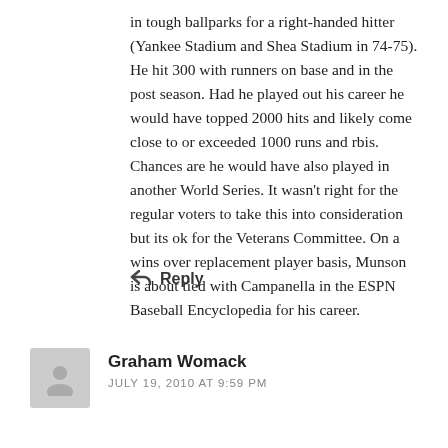in tough ballparks for a right-handed hitter (Yankee Stadium and Shea Stadium in 74-75). He hit 300 with runners on base and in the post season. Had he played out his career he would have topped 2000 hits and likely come close to or exceeded 1000 runs and rbis. Chances are he would have also played in another World Series. It wasn't right for the regular voters to take this into consideration but its ok for the Veterans Committee. On a wins over replacement player basis, Munson is about tied with Campanella in the ESPN Baseball Encyclopedia for his career.
↩ Reply
Graham Womack
JULY 19, 2010 AT 9:59 PM